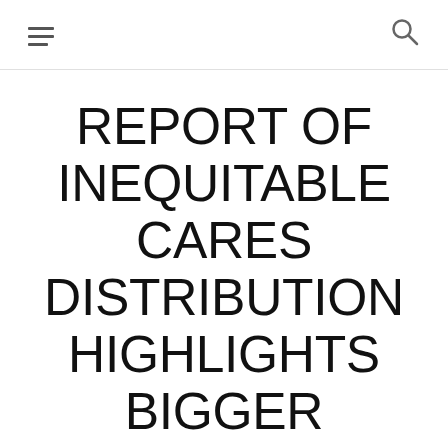≡ 🔍
REPORT OF INEQUITABLE CARES DISTRIBUTION HIGHLIGHTS BIGGER SCHOOL FINANCE PROBLEMS,